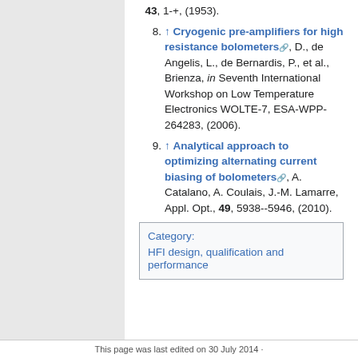43, 1-+, (1953).
8. ↑ Cryogenic pre-amplifiers for high resistance bolometers, D., de Angelis, L., de Bernardis, P., et al., Brienza, in Seventh International Workshop on Low Temperature Electronics WOLTE-7, ESA-WPP-264283, (2006).
9. ↑ Analytical approach to optimizing alternating current biasing of bolometers, A. Catalano, A. Coulais, J.-M. Lamarre, Appl. Opt., 49, 5938--5946, (2010).
| Category |
| --- |
| HFI design, qualification and performance |